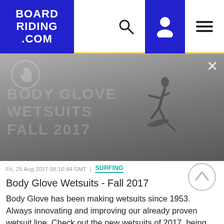BOARD RIDING .COM
[Figure (photo): Dark underwater/ocean scene with a surfer silhouette, watermark text reading BODY GLOVE WETSUITS FALL 2017, hand icon circle in top-left, close X button in top-right]
Fri, 25 Aug 2017 08:16:44 GMT | SURFING
Body Glove Wetsuits - Fall 2017
Body Glove has been making wetsuits since 1953. Always innovating and improving our already proven wetsuit line. Check out the new wetsuits of 2017, being put to the test